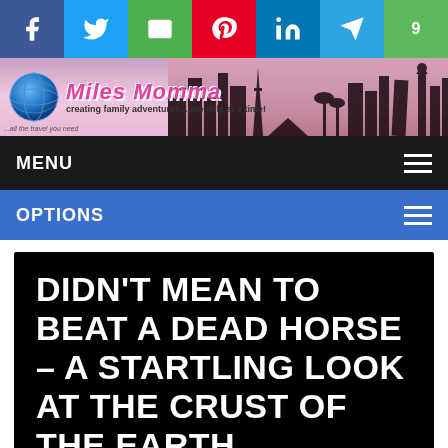[Figure (screenshot): Social media share buttons bar: Facebook (blue), Twitter (light blue), Email (green), Pinterest (red), LinkedIn (blue), Telegram (light blue), 9GAG (green)]
[Figure (screenshot): Miles Momma blog header banner with globe icon, pink italic title 'Miles Momma', tagline 'creating family adventures...one mile at a time!', city silhouette background]
MENU
OPTIONS
DIDN'T MEAN TO BEAT A DEAD HORSE – A STARTLING LOOK AT THE CRUST OF THE EARTH
[Figure (photo): Partial view of a mountain landscape under a blue sky]